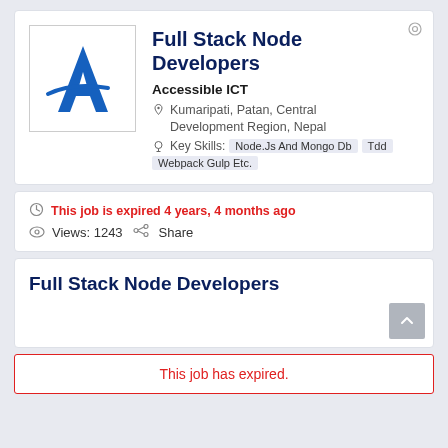Full Stack Node Developers
Accessible ICT
Kumaripati, Patan, Central Development Region, Nepal
Key Skills: Node.Js And Mongo Db  Tdd  Webpack Gulp Etc.
This job is expired 4 years, 4 months ago
Views: 1243  Share
Full Stack Node Developers
This job has expired.